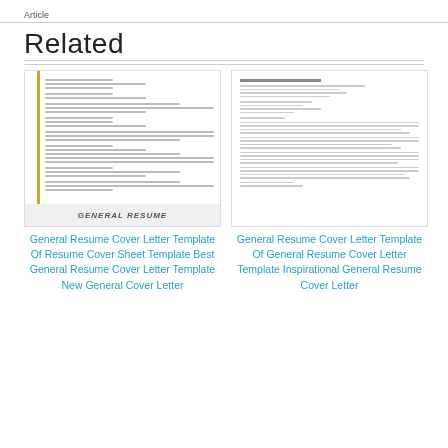Article
Related
[Figure (screenshot): Thumbnail of a General Resume Cover Letter template document with a gold vertical bar on the left side and text 'GENERAL RESUME' at the bottom]
General Resume Cover Letter Template Of Resume Cover Sheet Template Best General Resume Cover Letter Template New General Cover Letter
[Figure (screenshot): Thumbnail of a General Resume Cover Letter template showing a cover letter document with multiple paragraphs of text]
General Resume Cover Letter Template Of General Resume Cover Letter Template Inspirational General Resume Cover Letter